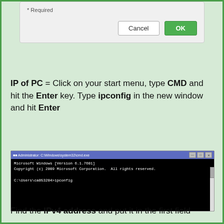[Figure (screenshot): Dialog box with '* Required' text and Cancel / OK buttons]
IP of PC = Click on your start menu, type CMD and hit the Enter key. Type ipconfig in the new window and hit Enter
[Figure (screenshot): Windows CMD window showing: Microsoft Windows [Version 6.1.7601], Copyright (c) 2009 Microsoft Corporation. All rights reserved. C:\Users\ca053204>ipconfig]
Find the IPv4 address and put it in the first field